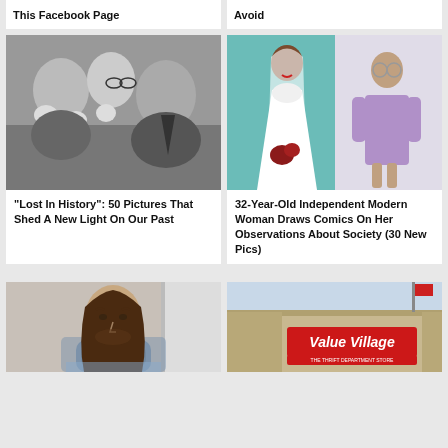This Facebook Page
Avoid
[Figure (photo): Black and white photo of people holding newborn babies]
[Figure (illustration): Comic illustration of a bride in wedding dress and a person in casual clothes]
"Lost In History": 50 Pictures That Shed A New Light On Our Past
32-Year-Old Independent Modern Woman Draws Comics On Her Observations About Society (30 New Pics)
[Figure (photo): Man with long hair wearing a neck brace]
[Figure (photo): Value Village thrift store exterior]